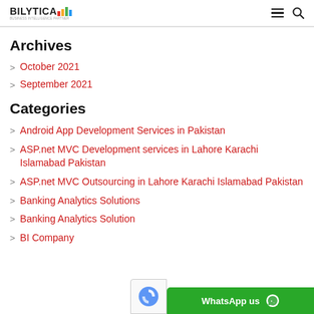BILYTICA [logo] — hamburger menu, search icon
Archives
October 2021
September 2021
Categories
Android App Development Services in Pakistan
ASP.net MVC Development services in Lahore Karachi Islamabad Pakistan
ASP.net MVC Outsourcing in Lahore Karachi Islamabad Pakistan
Banking Analytics Solutions
Banking Analytics Solution...
BI Company